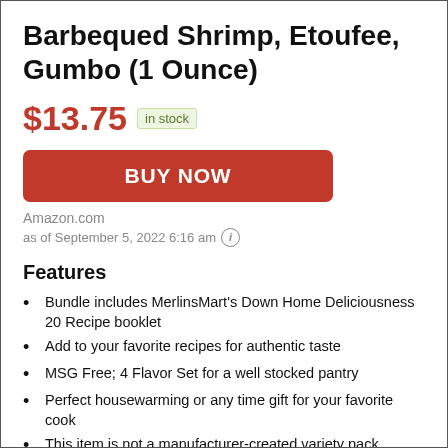Barbequed Shrimp, Etoufee, Gumbo (1 Ounce)
$13.75  in stock
BUY NOW
Amazon.com
as of September 5, 2022 6:16 am
Features
Bundle includes MerlinsMart's Down Home Deliciousness 20 Recipe booklet
Add to your favorite recipes for authentic taste
MSG Free; 4 Flavor Set for a well stocked pantry
Perfect housewarming or any time gift for your favorite cook
This item is not a manufacturer-created variety pack